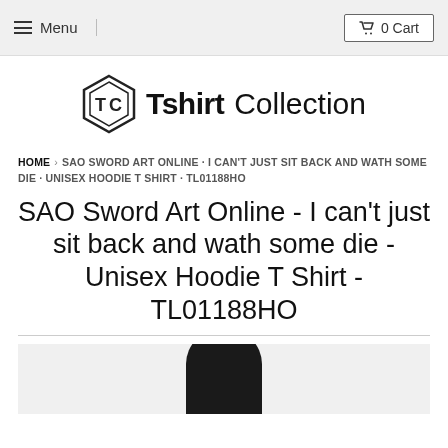Menu | 0 Cart
[Figure (logo): Tshirt Collection logo with hexagonal TC emblem]
HOME › SAO SWORD ART ONLINE - I CAN'T JUST SIT BACK AND WATH SOME DIE · UNISEX HOODIE T SHIRT · TL01188HO
SAO Sword Art Online - I can't just sit back and wath some die - Unisex Hoodie T Shirt - TL01188HO
[Figure (photo): Product photo showing the hoodie, dark colored, partially visible at bottom of page]